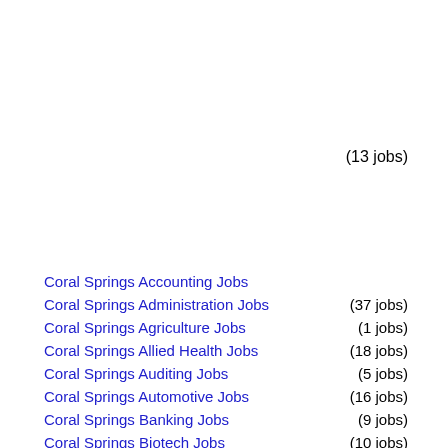(13 jobs)
Coral Springs Accounting Jobs
Coral Springs Administration Jobs (37 jobs)
Coral Springs Agriculture Jobs (1 jobs)
Coral Springs Allied Health Jobs (18 jobs)
Coral Springs Auditing Jobs (5 jobs)
Coral Springs Automotive Jobs (16 jobs)
Coral Springs Banking Jobs (9 jobs)
Coral Springs Biotech Jobs (10 jobs)